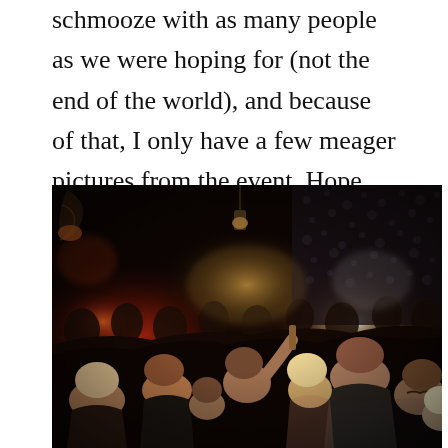schmooze with as many people as we were hoping for (not the end of the world), and because of that, I only have a few meager pictures from the event. Hope you enjoy…
[Figure (photo): A crowded, dimly lit bar or venue scene. Many people socializing, packed closely together. Warm amber and red lighting from wall sconces and a hanging lantern. Dark patterned wallpaper visible on the right side. Some people holding drinks. The atmosphere is lively and intimate.]